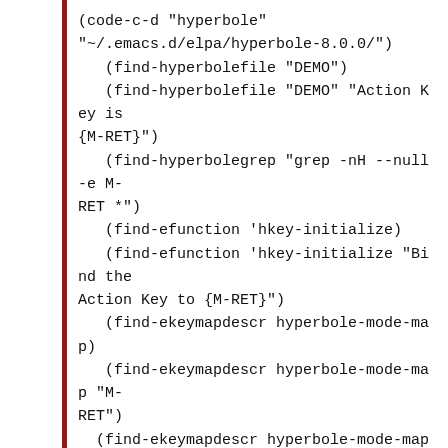(code-c-d "hyperbole" "~/.emacs.d/elpa/hyperbole-8.0.0/")
   (find-hyperbolefile "DEMO")
   (find-hyperbolefile "DEMO" "Action Key is {M-RET}")
   (find-hyperbolegrep "grep -nH --null -e M-RET *")
   (find-efunction 'hkey-initialize)
   (find-efunction 'hkey-initialize "Bind the Action Key to {M-RET}")
   (find-ekeymapdescr hyperbole-mode-map)
   (find-ekeymapdescr hyperbole-mode-map "M-RET")
  (find-ekeymapdescr hyperbole-mode-map "M-RET" "hkey-either")
   (find-efunction 'hkey-either)
   (find-efunction 'assist-key)
   (find-efunction 'assist-key-internal)
   (find-efunction 'action-key)
   (find-efunction 'action-key-internal)
   (find-efunction 'hkey-execute)
   (find-efunction 'hkey-execute "hkey-alist")